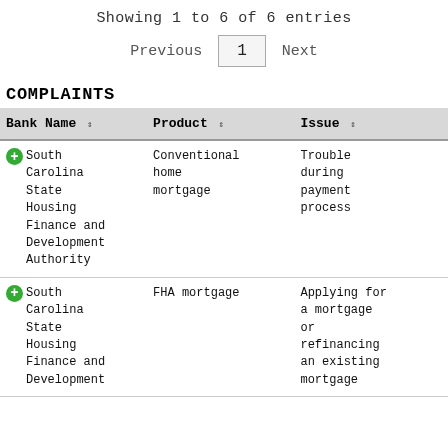Showing 1 to 6 of 6 entries
Previous  1  Next
COMPLAINTS
| Bank Name | Product | Issue |
| --- | --- | --- |
| South Carolina State Housing Finance and Development Authority | Conventional home mortgage | Trouble during payment process |
| South Carolina State Housing Finance and Development | FHA mortgage | Applying for a mortgage or refinancing an existing mortgage |